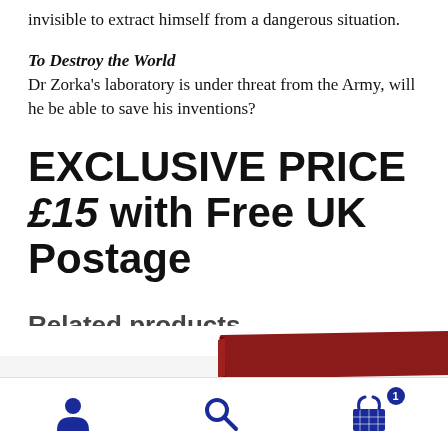invisible to extract himself from a dangerous situation.
To Destroy the World
Dr Zorka’s laboratory is under threat from the Army, will he be able to save his inventions?
EXCLUSIVE PRICE £15 with Free UK Postage
Related products
[Figure (photo): Partial view of book spine/cover at bottom of page]
[Figure (infographic): Bottom navigation bar with user icon, search icon, and shopping basket icon with badge showing 1 item]